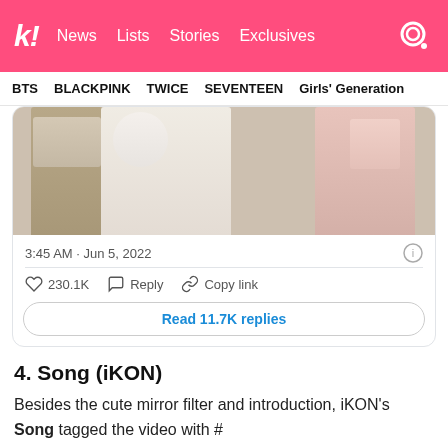k! News Lists Stories Exclusives
BTS BLACKPINK TWICE SEVENTEEN Girls' Generation
[Figure (photo): Cropped photo showing three people wearing pastel outfits (beige/white/pink), faces obscured.]
3:45 AM · Jun 5, 2022
♡ 230.1K  Reply  Copy link
Read 11.7K replies
4. Song (iKON)
Besides the cute mirror filter and introduction, iKON's Song tagged the video with #